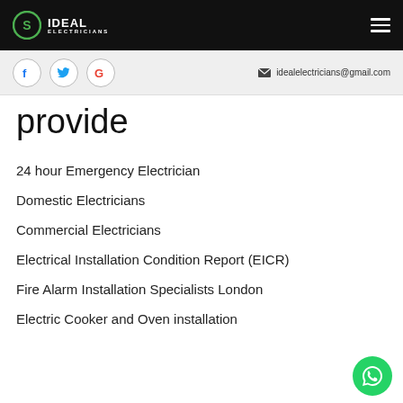Ideal Electricians — navigation bar with logo and hamburger menu
idealelectricians@gmail.com
provide
24 hour Emergency Electrician
Domestic Electricians
Commercial Electricians
Electrical Installation Condition Report (EICR)
Fire Alarm Installation Specialists London
Electric Cooker and Oven installation